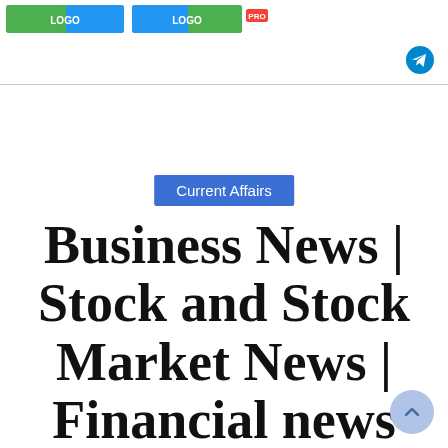[Logo banners: two branded header logos with PRO badge]
[Figure (logo): Telegram share icon in teal/blue circle]
Current Affairs
Business News | Stock and Stock Market News | Financial news